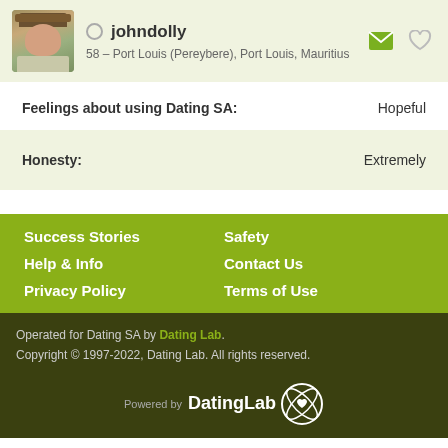johndolly — 58 – Port Louis (Pereybere), Port Louis, Mauritius
Feelings about using Dating SA: Hopeful
Honesty: Extremely
Success Stories
Safety
Help & Info
Contact Us
Privacy Policy
Terms of Use
Operated for Dating SA by Dating Lab. Copyright © 1997-2022, Dating Lab. All rights reserved.